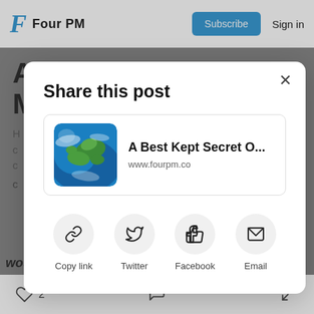Four PM | Subscribe | Sign in
Share this post
A Best Kept Secret O... www.fourpm.co
Copy link
Twitter
Facebook
Email
would like to receive it directly in your inbox,